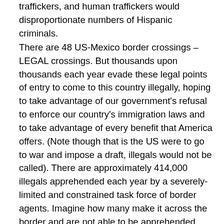traffickers, and human traffickers would disproportionate numbers of Hispanic criminals.
There are 48 US-Mexico border crossings – LEGAL crossings. But thousands upon thousands each year evade these legal points of entry to come to this country illegally, hoping to take advantage of our government's refusal to enforce our country's immigration laws and to take advantage of every benefit that America offers. (Note though that is the US were to go to war and impose a draft, illegals would not be called). There are approximately 414,000 illegals apprehended each year by a severely-limited and constrained task force of border agents. Imagine how many make it across the border and are not able to be apprehended. The numbers are staggering. And in the past several months, the rate of illegal crossings has increased 37%.  New American